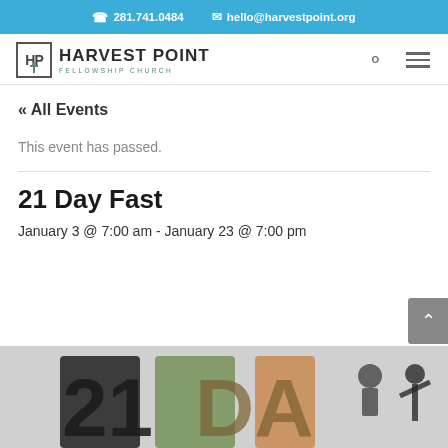281.741.0484   hello@harvestpoint.org
[Figure (logo): Harvest Point Fellowship Church logo with HP monogram in bordered box and church name text]
« All Events
This event has passed.
21 Day Fast
January 3 @ 7:00 am - January 23 @ 7:00 pm
[Figure (photo): 21 Day Fast event image with Harvest Point Fellowship Church logo overlay and large stylized text/silhouette graphic]